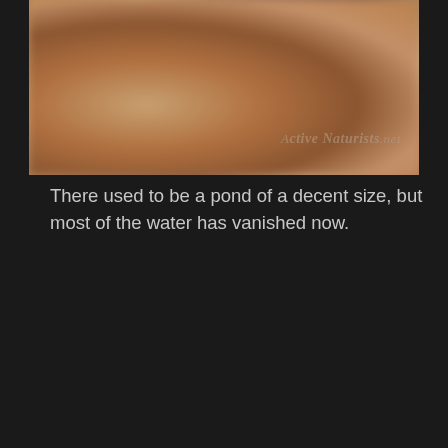[Figure (photo): Close-up blurred photo with warm brown and tan tones, showing out-of-focus organic shapes. Watermark 'Active Naturists.net' visible in lower right.]
There used to be a pond of a decent size, but most of the water has vanished now.
[Figure (photo): Outdoor photo of a marshy, grassy field with brown and green grasses, shallow muddy water with lily pads, and a tall bird (crane or heron) standing in the middle distance. Watermark 'Active Naturists.net' visible in lower right.]